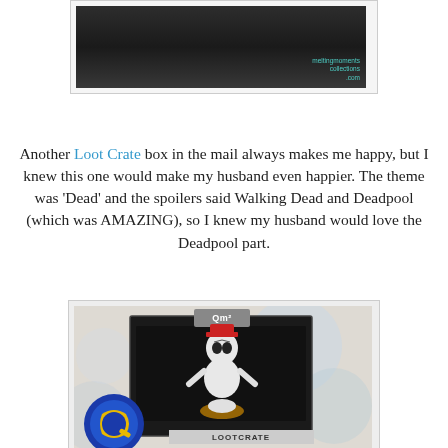[Figure (photo): Photo of a dark brown/black rectangular Loot Crate box with a watermark in the bottom right corner]
Another Loot Crate box in the mail always makes me happy, but I knew this one would make my husband even happier. The theme was 'Dead' and the spoilers said Walking Dead and Deadpool (which was AMAZING), so I knew my husband would love the Deadpool part.
[Figure (photo): Photo of a Deadpool Q-fig figurine in its retail packaging, showing a small black-and-white Deadpool figure inside a black display box with the Qmx logo at top and large Q logo at bottom left, with Loot Crate branding at the bottom]